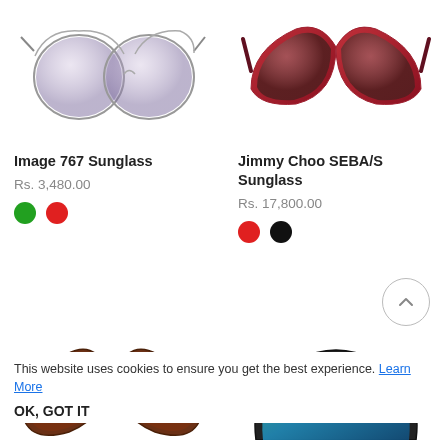[Figure (photo): Image 767 Sunglass product photo — round/geometric silver-frame sunglasses with purple gradient lenses, top-cropped view]
[Figure (photo): Jimmy Choo SEBA/S Sunglass product photo — red cat-eye frame sunglasses with dark gradient lenses, top-cropped view]
Image 767 Sunglass
Rs. 3,480.00
Jimmy Choo SEBA/S Sunglass
Rs. 17,800.00
[Figure (photo): Partial product photo — tortoiseshell cat-eye sunglasses with pink temples and brown gradient lenses]
[Figure (photo): Partial product photo — shield-style sport sunglasses with dark frame and green mirrored lens]
This website uses cookies to ensure you get the best experience. Learn More
OK, GOT IT